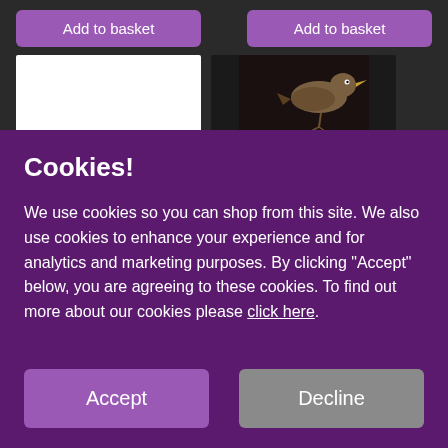[Figure (screenshot): Two 'Add to basket' purple buttons side by side on a dark background, with product image areas below (white rectangle on left, dark area with a bird photo on right).]
Cookies!
We use cookies so you can shop from this site. We also use cookies to enhance your experience and for analytics and marketing purposes. By clicking "Accept" below, you are agreeing to these cookies. To find out more about our cookies please click here.
Accept
Decline